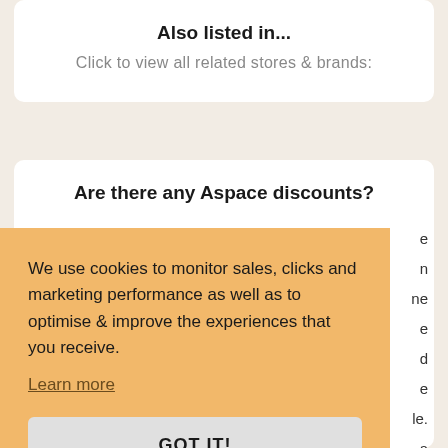Also listed in...
Click to view all related stores & brands:
Are there any Aspace discounts?
We use cookies to monitor sales, clicks and marketing performance as well as to optimise & improve the experiences that you receive.
Learn more
GOT IT!